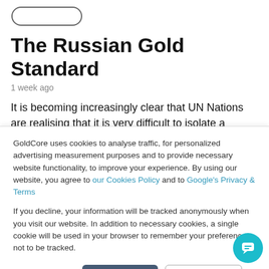[Figure (other): Rounded rectangle button/badge outline at top]
The Russian Gold Standard
1 week ago
It is becoming increasingly clear that UN Nations are realising that it is very difficult to isolate a country that is already a global power. And not just a global power in terms of the military but also in terms of the world's
GoldCore uses cookies to analyse traffic, for personalized advertising measurement purposes and to provide necessary website functionality, to improve your experience. By using our website, you agree to our Cookies Policy and to Google's Privacy & Terms
If you decline, your information will be tracked anonymously when you visit our website. In addition to necessary cookies, a single cookie will be used in your browser to remember your preference not to be tracked.